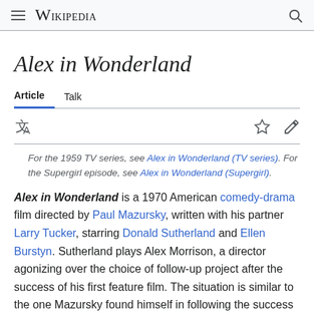Wikipedia
Alex in Wonderland
Article  Talk
For the 1959 TV series, see Alex in Wonderland (TV series). For the Supergirl episode, see Alex in Wonderland (Supergirl).
Alex in Wonderland is a 1970 American comedy-drama film directed by Paul Mazursky, written with his partner Larry Tucker, starring Donald Sutherland and Ellen Burstyn. Sutherland plays Alex Morrison, a director agonizing over the choice of follow-up project after the success of his first feature film. The situation is similar to the one Mazursky found himself in following the success